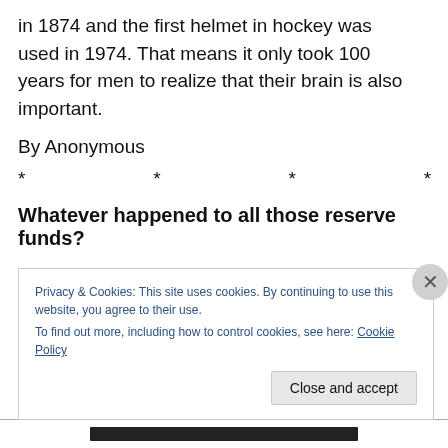in 1874 and the first helmet in hockey was used in 1974. That means it only took 100 years for men to realize that their brain is also important.
By Anonymous
* * * *
Whatever happened to all those reserve funds?
The city hired a consultant group from Hamilton to conduct an operations review. BMA reported that the city's reserve
Privacy & Cookies: This site uses cookies. By continuing to use this website, you agree to their use.
To find out more, including how to control cookies, see here: Cookie Policy
Close and accept